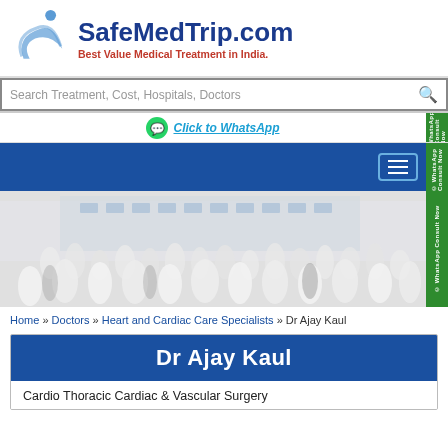[Figure (logo): SafeMedTrip.com logo — blue stylized figure/swoosh icon]
SafeMedTrip.com
Best Value Medical Treatment in India.
Search Treatment, Cost, Hospitals, Doctors
Click to WhatsApp
[Figure (photo): Large group photo of doctors and medical staff in white coats in front of a hospital building]
Home » Doctors » Heart and Cardiac Care Specialists » Dr Ajay Kaul
Dr Ajay Kaul
Cardio Thoracic Cardiac & Vascular Surgery